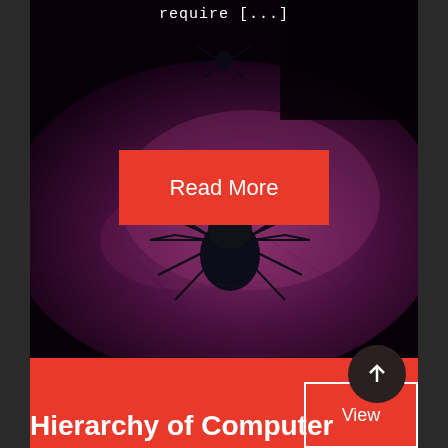require [...]
[Figure (photo): Close-up photograph of a dark spider on a purple-tinted textured surface, with dramatic dark lighting]
Read More
Hierarchy of Computer
View